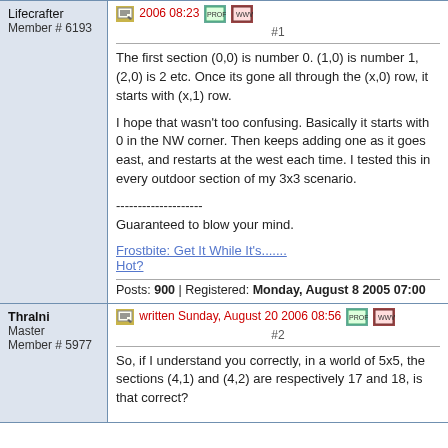Lifecrafter
Member # 6193
written 2006 08:23 #1
The first section (0,0) is number 0. (1,0) is number 1, (2,0) is 2 etc. Once its gone all through the (x,0) row, it starts with (x,1) row.

I hope that wasn't too confusing. Basically it starts with 0 in the NW corner. Then keeps adding one as it goes east, and restarts at the west each time. I tested this in every outdoor section of my 3x3 scenario.

--------------------
Guaranteed to blow your mind.
Frostbite: Get It While It's....... Hot?
Posts: 900 | Registered: Monday, August 8 2005 07:00
Thralni
Master
Member # 5977
written Sunday, August 20 2006 08:56 #2
So, if I understand you correctly, in a world of 5x5, the sections (4,1) and (4,2) are respectively 17 and 18, is that correct?